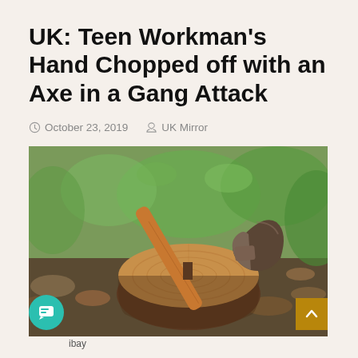UK: Teen Workman's Hand Chopped off with an Axe in a Gang Attack
October 23, 2019   UK Mirror
[Figure (photo): An axe embedded in a freshly cut tree stump, with leaves and green vegetation in the background.]
ibay